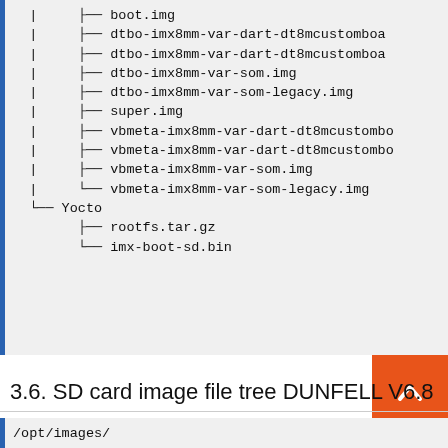|     ├── boot.img
  |     ├── dtbo-imx8mm-var-dart-dt8mcustomboa
  |     ├── dtbo-imx8mm-var-dart-dt8mcustomboa
  |     ├── dtbo-imx8mm-var-som.img
  |     ├── dtbo-imx8mm-var-som-legacy.img
  |     ├── super.img
  |     ├── vbmeta-imx8mm-var-dart-dt8custombo
  |     ├── vbmeta-imx8mm-var-dart-dt8custombo
  |     ├── vbmeta-imx8mm-var-som.img
  |     └── vbmeta-imx8mm-var-som-legacy.img
  └── Yocto
        ├── rootfs.tar.gz
        └── imx-boot-sd.bin
[Figure (other): Back to top button (orange arrow up)]
3.6. SD card image file tree DUNFELL V6.8
/opt/images/